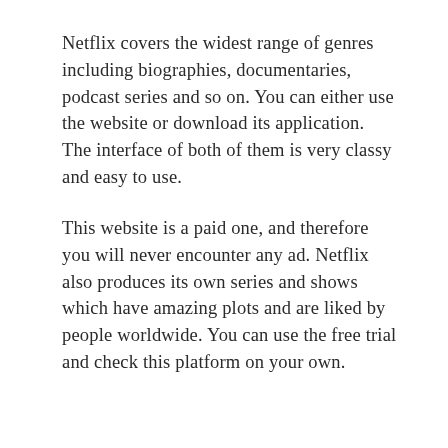Netflix covers the widest range of genres including biographies, documentaries, podcast series and so on. You can either use the website or download its application. The interface of both of them is very classy and easy to use.
This website is a paid one, and therefore you will never encounter any ad. Netflix also produces its own series and shows which have amazing plots and are liked by people worldwide. You can use the free trial and check this platform on your own.